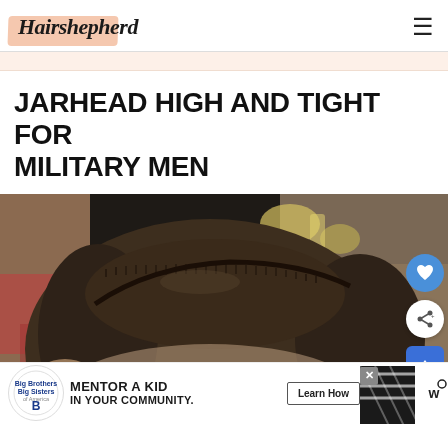Hairshepherd
JARHEAD HIGH AND TIGHT FOR MILITARY MEN
[Figure (photo): Close-up top/back view of a man's head with a jarhead high and tight military haircut, very short sides and slightly longer flat top, taken in a barbershop with blurred background]
MENTOR A KID IN YOUR COMMUNITY. Learn How